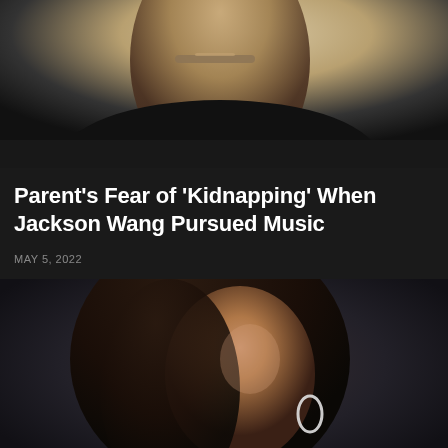[Figure (photo): Close-up photo of a person's neck and shoulder area wearing a dark top and a decorative bracelet/necklace, photographed against a light background]
Parent’s Fear of ‘Kidnapping’ When Jackson Wang Pursued Music
MAY 5, 2022
[Figure (photo): Portrait photo of a young Black woman with braided locs, wearing white earrings and a white top, with a nose ring, photographed against a dark gray background]